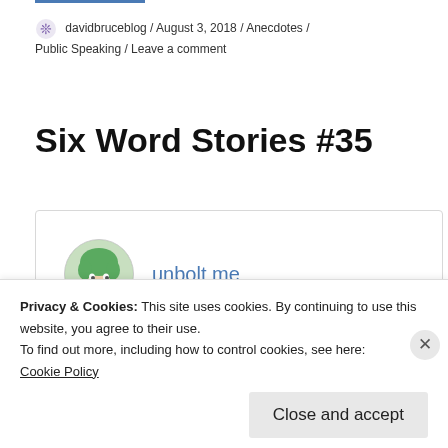davidbruceblog / August 3, 2018 / Anecdotes / Public Speaking / Leave a comment
Six Word Stories #35
[Figure (illustration): Card with green-haired illustrated avatar and link text 'unbolt me']
Privacy & Cookies: This site uses cookies. By continuing to use this website, you agree to their use.
To find out more, including how to control cookies, see here:
Cookie Policy
Close and accept